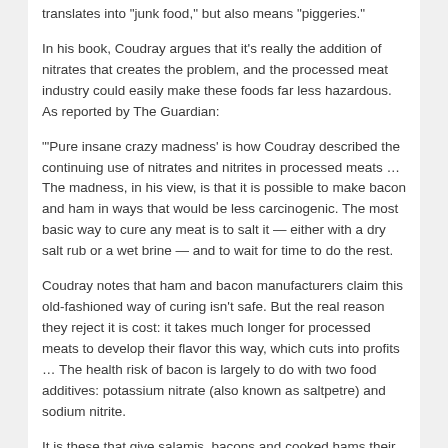translates into "junk food," but also means "piggeries."
In his book, Coudray argues that it's really the addition of nitrates that creates the problem, and the processed meat industry could easily make these foods far less hazardous. As reported by The Guardian:
"'Pure insane crazy madness' is how Coudray described the continuing use of nitrates and nitrites in processed meats … The madness, in his view, is that it is possible to make bacon and ham in ways that would be less carcinogenic. The most basic way to cure any meat is to salt it — either with a dry salt rub or a wet brine — and to wait for time to do the rest.
Coudray notes that ham and bacon manufacturers claim this old-fashioned way of curing isn't safe. But the real reason they reject it is cost: it takes much longer for processed meats to develop their flavor this way, which cuts into profits … The health risk of bacon is largely to do with two food additives: potassium nitrate (also known as saltpetre) and sodium nitrite.
It is these that give salamis, bacons and cooked hams their alluring pink color … when otherwise it would be a murky greyish brown … It is this nitrite that allows the bacteria responsible for cured flavor to emerge quicker, by inhibiting the